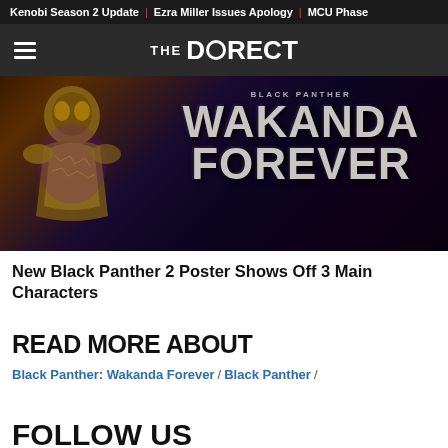Kenobi Season 2 Update | Ezra Miller Issues Apology | MCU Phase
THE DIRECT
[Figure (photo): Black Panther: Wakanda Forever movie poster/banner showing a gold-armored figure on the left and large metallic text reading 'BLACK PANTHER WAKANDA FOREVER' on the right against a dark background]
New Black Panther 2 Poster Shows Off 3 Main Characters
READ MORE ABOUT
Black Panther: Wakanda Forever / Black Panther /
FOLLOW US